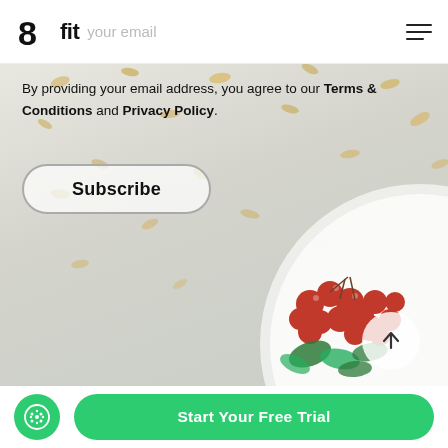8fit  [email input placeholder] your email  [hamburger menu]
[Figure (photo): Background image of a white bowl with red cherry tomatoes and green herbs on white surface with scattered oats/cereal pieces]
By providing your email address, you agree to our Terms & Conditions and Privacy Policy.
Subscribe
Start Your Free Trial